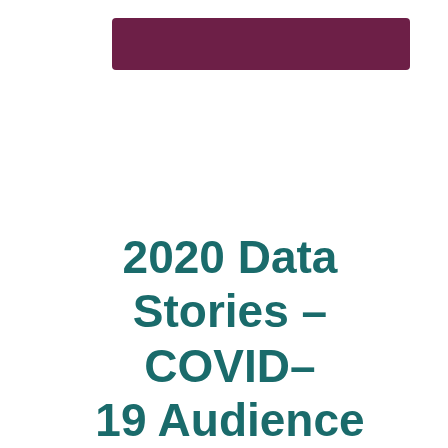[Figure (other): Dark purple/maroon rectangular bar near top of page]
2020 Data Stories – COVID-19 Audience Research